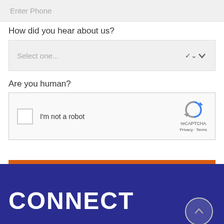Enter Phone
How did you hear about us?
Select one...
Are you human?
[Figure (other): reCAPTCHA widget with checkbox labeled I'm not a robot and reCAPTCHA logo with Privacy and Terms links]
SIGN UP
CONNECT